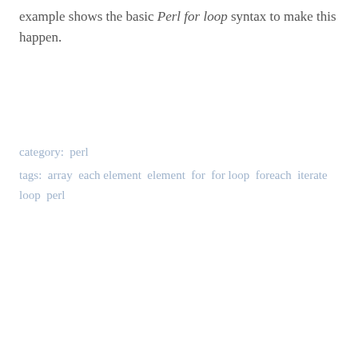example shows the basic Perl for loop syntax to make this happen.
category:  perl
tags:  array  each element  element  for  for loop  foreach  iterate  loop  perl